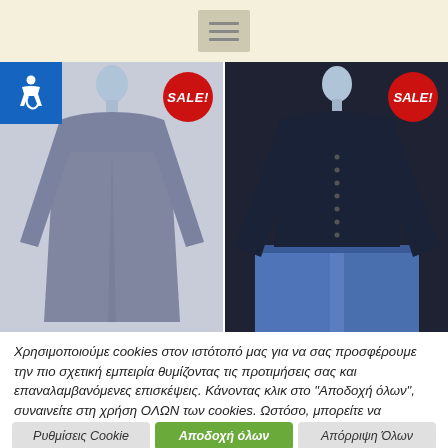[Figure (screenshot): Website header bar with hamburger menu icon on cream/beige background]
[Figure (photo): Blue accessibility icon button (wheelchair symbol) on blue square background]
[Figure (photo): Two clothing items on mannequins with SALE! badges. Left: grey/blue long-sleeve top. Right: dark navy knit sweater with button detail, paired with blue jeans.]
Χρησιμοποιούμε cookies στον ιστότοπό μας για να σας προσφέρουμε την πιο σχετική εμπειρία θυμίζοντας τις προτιμήσεις σας και επαναλαμβανόμενες επισκέψεις. Κάνοντας κλικ στο "Αποδοχή όλων", συναινείτε στη χρήση ΟΛΩΝ των cookies. Ωστόσο, μπορείτε να επισκεφτείτε τις "Ρυθμίσεις cookie" για να παράσχετε μια ελεγχόμενη συγκατάθεση.
Ρυθμίσεις Cookie
Αποδοχή όλων
Απόρριψη Όλων